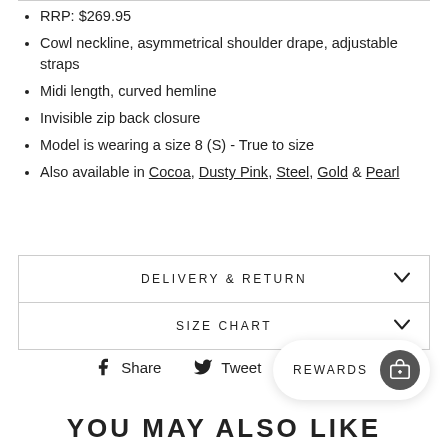RRP: $269.95
Cowl neckline, asymmetrical shoulder drape, adjustable straps
Midi length, curved hemline
Invisible zip back closure
Model is wearing a size 8 (S) - True to size
Also available in Cocoa, Dusty Pink, Steel, Gold & Pearl
DELIVERY & RETURN
SIZE CHART
Share  Tweet  Pin it
REWARDS
YOU MAY ALSO LIKE